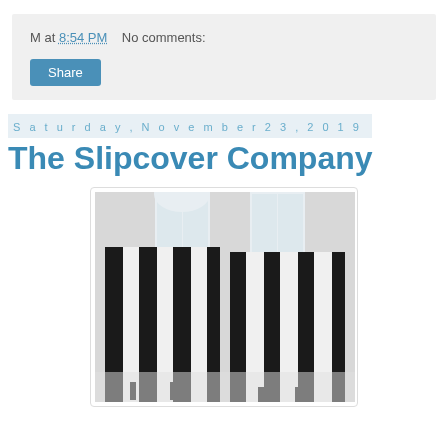M at 8:54 PM    No comments:
Share
Saturday, November 23, 2019
The Slipcover Company
[Figure (photo): Two chairs with bold black and white vertical stripe slipcovers in a bright room with large windows]